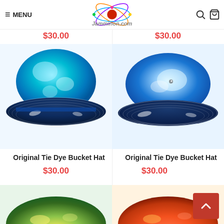≡ MENU | jamminon.com | search | cart
$30.00
$30.00
[Figure (photo): Light blue and dark blue tie-dye bucket hat, front/side view]
[Figure (photo): Blue and white tie-dye bucket hat, side view]
Original Tie Dye Bucket Hat
$30.00
Original Tie Dye Bucket Hat
$30.00
[Figure (photo): Partial view of colorful tie-dye bucket hat (green/yellow), bottom of page left]
[Figure (photo): Partial view of orange/red tie-dye bucket hat, bottom of page right]